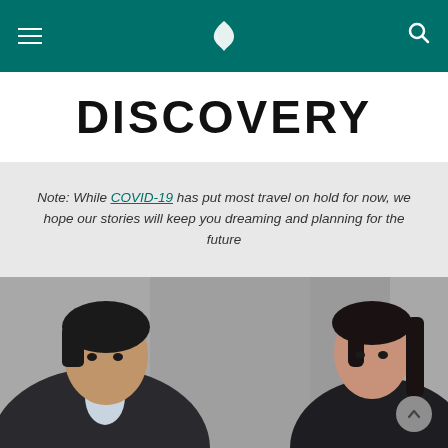Cathay Pacific Discovery — navigation header with logo, hamburger menu, and search icon
DISCOVERY
Note: While COVID-19 has put most travel on hold for now, we hope our stories will keep you dreaming and planning for the future
[Figure (photo): Two business professionals (a man on the left and a woman on the right) facing each other and smiling, photographed in a blurred urban setting. Both are wearing dark business attire.]